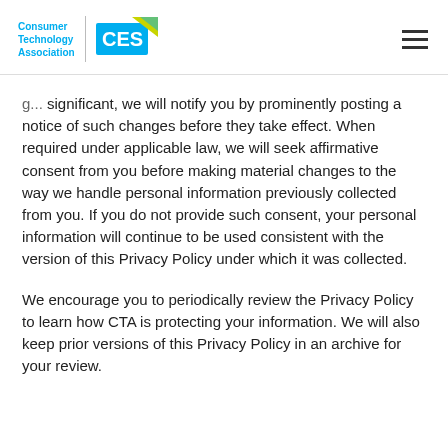Consumer Technology Association | CES
significant, we will notify you by prominently posting a notice of such changes before they take effect. When required under applicable law, we will seek affirmative consent from you before making material changes to the way we handle personal information previously collected from you. If you do not provide such consent, your personal information will continue to be used consistent with the version of this Privacy Policy under which it was collected.
We encourage you to periodically review the Privacy Policy to learn how CTA is protecting your information. We will also keep prior versions of this Privacy Policy in an archive for your review.